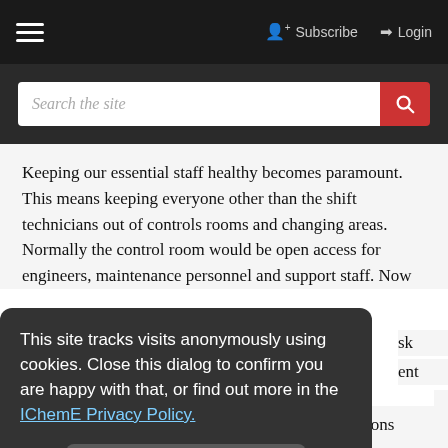☰   Subscribe  Login
Search the site
Keeping our essential staff healthy becomes paramount. This means keeping everyone other than the shift technicians out of controls rooms and changing areas. Normally the control room would be open access for engineers, maintenance personnel and support staff. Now
This site tracks visits anonymously using cookies. Close this dialog to confirm you are happy with that, or find out more in the IChemE Privacy Policy.
field, now the request is radioed in, and one operations